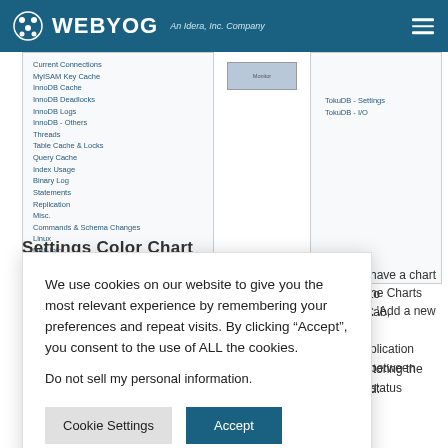WEBYOG An Idera, Inc. Company
Current Connections
MyISAM Key Cache
InnoDB Cache
InnoDB Deadlocks
InnoDB Logs
InnoDB - Others
Threads
Table Cache & Locks
Query Cache
Index Usage
Binary Log
Statements
Replication
Misc.
Commands & Schema Changes
Linux
Disk Info
MySQL Cluster
Percona
TokuDB - Settings
TokuDB - I/O
Settings Color Chart
have a chart to
ne Charts tab,
t 'Add a new
plication between
itoring the status
d:
We use cookies on our website to give you the most relevant experience by remembering your preferences and repeat visits. By clicking “Accept”, you consent to the use of ALL the cookies.
Do not sell my personal information.
Cookie Settings
Accept
[MON_a MySQL_Cluster/Server_name_here_and more...